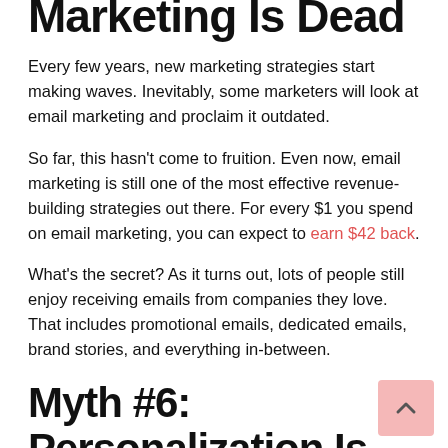Marketing Is Dead
Every few years, new marketing strategies start making waves. Inevitably, some marketers will look at email marketing and proclaim it outdated.
So far, this hasn't come to fruition. Even now, email marketing is still one of the most effective revenue-building strategies out there. For every $1 you spend on email marketing, you can expect to earn $42 back.
What's the secret? As it turns out, lots of people still enjoy receiving emails from companies they love. That includes promotional emails, dedicated emails, brand stories, and everything in-between.
Myth #6: Personalization Is Creepy